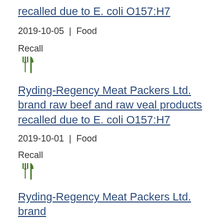recalled due to E. coli O157:H7
2019-10-05 | Food
Recall
[Figure (illustration): Green fork and knife food icon]
Ryding-Regency Meat Packers Ltd. brand raw beef and raw veal products recalled due to E. coli O157:H7
2019-10-01 | Food
Recall
[Figure (illustration): Green fork and knife food icon]
Ryding-Regency Meat Packers Ltd. brand